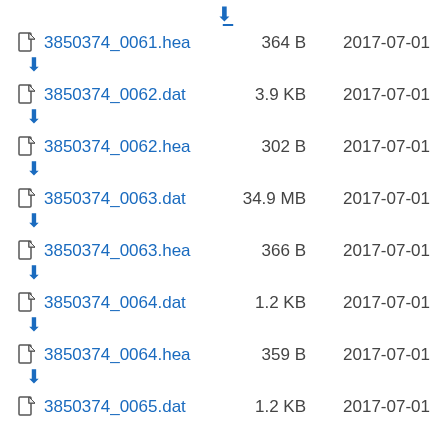3850374_0061.hea  364 B  2017-07-01
3850374_0062.dat  3.9 KB  2017-07-01
3850374_0062.hea  302 B  2017-07-01
3850374_0063.dat  34.9 MB  2017-07-01
3850374_0063.hea  366 B  2017-07-01
3850374_0064.dat  1.2 KB  2017-07-01
3850374_0064.hea  359 B  2017-07-01
3850374_0065.dat  1.2 KB  2017-07-01